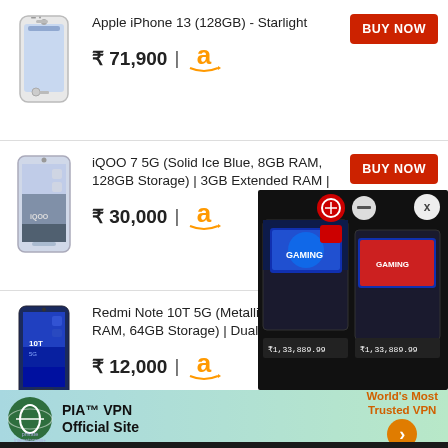[Figure (photo): Apple iPhone 13 white/starlight color phone image]
Apple iPhone 13 (128GB) - Starlight
₹ 71,900 | Amazon
BUY NOW
[Figure (photo): iQOO 7 5G Solid Ice Blue phone image]
iQOO 7 5G (Solid Ice Blue, 8GB RAM, 128GB Storage) | 3GB Extended RAM |
₹ 30,000 | Amazon
BUY NOW
[Figure (photo): Redmi Note 10T 5G Metallic Blue phone image]
Redmi Note 10T 5G (Metallic Blue, 4GB RAM, 64GB Storage) | Dual 5G | 90Hz
₹ 12,000 | Amazon
BUY NOW
[Figure (photo): Advertisement overlay showing gaming laptop box with price ₹1,33,889.99]
[Figure (screenshot): PIA VPN advertisement banner - World's Most Trusted VPN]